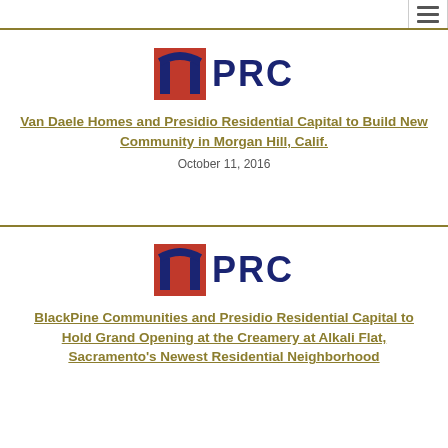[Figure (logo): PRC (Presidio Residential Capital) logo with red arch icon and dark blue PRC text]
Van Daele Homes and Presidio Residential Capital to Build New Community in Morgan Hill, Calif.
October 11, 2016
[Figure (logo): PRC (Presidio Residential Capital) logo with red arch icon and dark blue PRC text]
BlackPine Communities and Presidio Residential Capital to Hold Grand Opening at the Creamery at Alkali Flat, Sacramento's Newest Residential Neighborhood